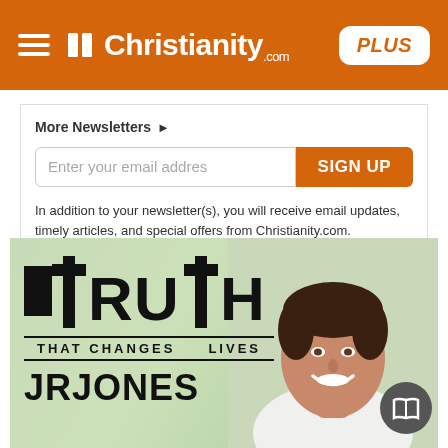Christianity.com PLUS
More Newsletters ▶
Enter your email addres  SIGN UP
In addition to your newsletter(s), you will receive email updates, timely articles, and special offers from Christianity.com.
Privacy Policy / Terms of Use
[Figure (photo): Truth That Changes Lives - JR Jones banner with man smiling and a cross-styled T in TRUTH text]